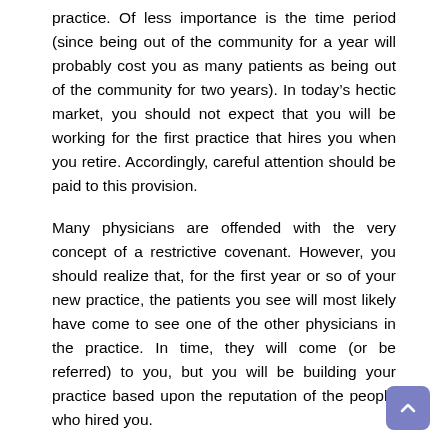practice. Of less importance is the time period (since being out of the community for a year will probably cost you as many patients as being out of the community for two years). In today's hectic market, you should not expect that you will be working for the first practice that hires you when you retire. Accordingly, careful attention should be paid to this provision.
Many physicians are offended with the very concept of a restrictive covenant. However, you should realize that, for the first year or so of your new practice, the patients you see will most likely have come to see one of the other physicians in the practice. In time, they will come (or be referred) to you, but you will be building your practice based upon the reputation of the people who hired you.
The geographical area should be large enough to prevent you from setting up practice so close to your old employer that patients think you are still with them, but should be small enough to allow you to stay in the community if you leave the employer. Although the size of this area obviously varies by community, I believe that a five-mile radius should provide adequate protection in all but the most rural